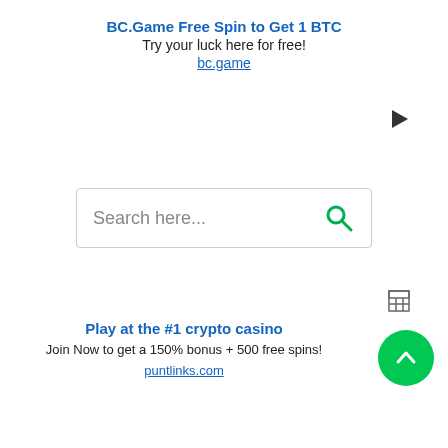BC.Game Free Spin to Get 1 BTC
Try your luck here for free!
bc.game
[Figure (other): Play button icon (right side)]
[Figure (other): Search box with placeholder text 'Search here...' and green search icon]
[Figure (other): Table/grid icon (right side)]
Play at the #1 crypto casino
Join Now to get a 150% bonus + 500 free spins!
puntlinks.com
[Figure (other): Green circular scroll-to-top button with upward chevron arrow]